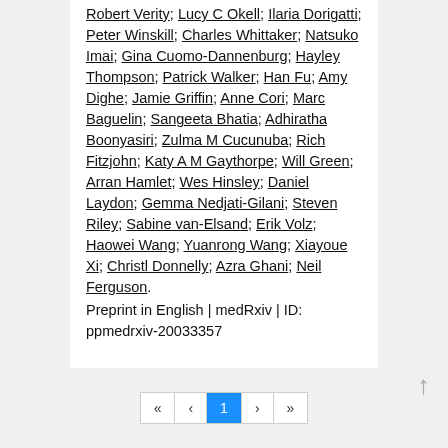Robert Verity; Lucy C Okell; Ilaria Dorigatti; Peter Winskill; Charles Whittaker; Natsuko Imai; Gina Cuomo-Dannenburg; Hayley Thompson; Patrick Walker; Han Fu; Amy Dighe; Jamie Griffin; Anne Cori; Marc Baguelin; Sangeeta Bhatia; Adhiratha Boonyasiri; Zulma M Cucunuba; Rich Fitzjohn; Katy A M Gaythorpe; Will Green; Arran Hamlet; Wes Hinsley; Daniel Laydon; Gemma Nedjati-Gilani; Steven Riley; Sabine van-Elsand; Erik Volz; Haowei Wang; Yuanrong Wang; Xiayoue Xi; Christl Donnelly; Azra Ghani; Neil Ferguson.
Preprint in English | medRxiv | ID: ppmedrxiv-20033357
1